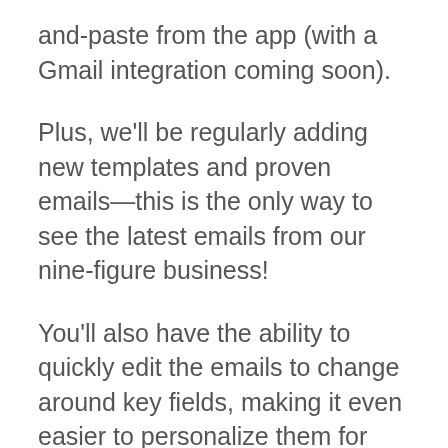and-paste from the app (with a Gmail integration coming soon).
Plus, we'll be regularly adding new templates and proven emails—this is the only way to see the latest emails from our nine-figure business!
You'll also have the ability to quickly edit the emails to change around key fields, making it even easier to personalize them for your purposes.